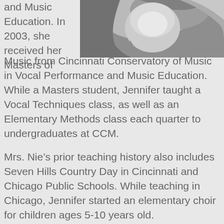[Figure (photo): Black and white close-up photo of a woman with curly/wavy hair, cropped to show face and hair area, top-right of the page.]
and Music Education. In 2003, she received her Masters of Music from Cincinnati Conservatory of Music in Vocal Performance and Music Education. While a Masters student, Jennifer taught a Vocal Techniques class, as well as an Elementary Methods class each quarter to undergraduates at CCM.

Mrs. Nie's prior teaching history also includes Seven Hills Country Day in Cincinnati and Chicago Public Schools. While teaching in Chicago, Jennifer started an elementary choir for children ages 5-10 years old.